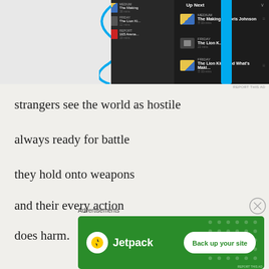[Figure (screenshot): Top advertisement showing a podcast player UI with 'Up Next' panel displaying 'The Making of Boris Johnson' and 'The Lion King And What's Maki...' entries, with blue device accent and swirl graphic. 'REPORT THIS AD' text in upper right.]
strangers see the world as hostile
always ready for battle
they hold onto weapons
and their every action
does harm.
Advertisements
[Figure (screenshot): Jetpack advertisement banner on green background with Jetpack logo (lightning bolt icon) on left and 'Back up your site' white button on right.]